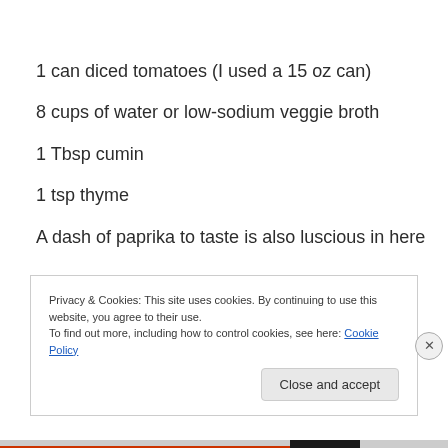1 can diced tomatoes (I used a 15 oz can)
8 cups of water or low-sodium veggie broth
1 Tbsp cumin
1 tsp thyme
A dash of paprika to taste is also luscious in here
Privacy & Cookies: This site uses cookies. By continuing to use this website, you agree to their use.
To find out more, including how to control cookies, see here: Cookie Policy